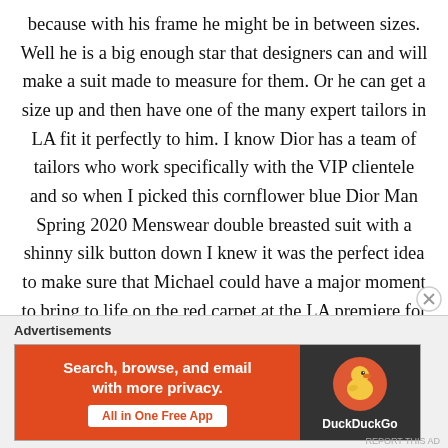because with his frame he might be in between sizes. Well he is a big enough star that designers can and will make a suit made to measure for them. Or he can get a size up and then have one of the many expert tailors in LA fit it perfectly to him. I know Dior has a team of tailors who work specifically with the VIP clientele and so when I picked this cornflower blue Dior Man Spring 2020 Menswear double breasted suit with a shinny silk button down I knew it was the perfect idea to make sure that Michael could have a major moment to bring to life on the red carpet at the LA premiere for Just Mercy. Now to finish this look I would tuck in the button down, ditch the necklace and
Advertisements
[Figure (other): DuckDuckGo advertisement banner: orange left panel with text 'Search, browse, and email with more privacy. All in One Free App' and dark right panel with DuckDuckGo duck logo and brand name.]